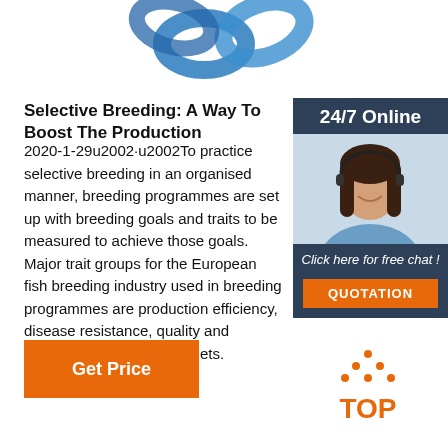[Figure (photo): Blue chain links image at the top of the page]
Selective Breeding: A Way To Boost The Production
2020-1-29u2002·u2002To practice selective breeding in an organised manner, breeding programmes are set up with breeding goals and traits to be measured to achieve those goals. Major trait groups for the European fish breeding industry used in breeding programmes are production efficiency, disease resistance, quality and adaptation to alternative diets.
[Figure (photo): 24/7 Online customer support agent - woman with headset smiling, with Click here for free chat! text and QUOTATION button]
Get Price
[Figure (logo): TOP logo with orange dots arranged in triangle above the word TOP in orange]